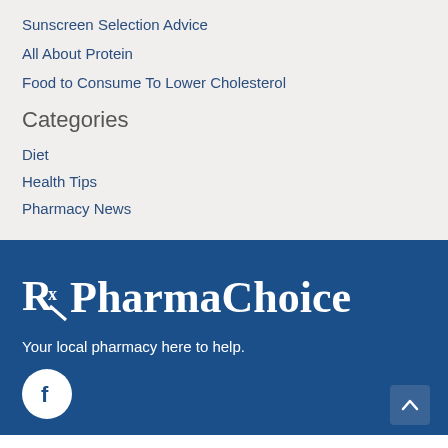Sunscreen Selection Advice
All About Protein
Food to Consume To Lower Cholesterol
Categories
Diet
Health Tips
Pharmacy News
[Figure (logo): PharmaChoice pharmacy logo with Rx symbol in white on dark blue background]
Your local pharmacy here to help.
[Figure (other): Facebook social media icon — white f on white circle]